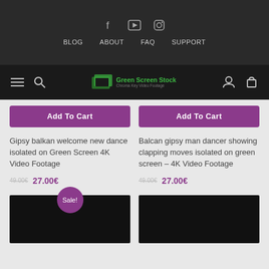Social icons: Facebook, YouTube, Instagram | Navigation: BLOG, ABOUT, FAQ, SUPPORT | Green Screen Stock logo
Add To Cart
Add To Cart
Gipsy balkan welcome new dance isolated on Green Screen 4K Video Footage
27.00€
Balcan gipsy man dancer showing clapping moves isolated on green screen – 4K Video Footage
27.00€
[Figure (screenshot): Two dark/black product thumbnail images at the bottom, left one has a Sale! badge]